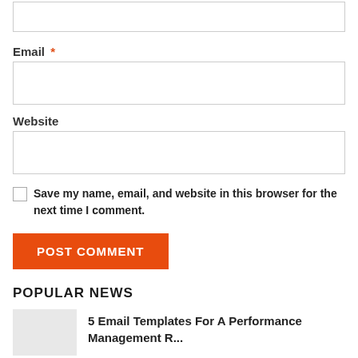[input field - top, partially visible]
Email *
[email input field]
Website
[website input field]
Save my name, email, and website in this browser for the next time I comment.
POST COMMENT
POPULAR NEWS
5 Email Templates For A Performance Management R...